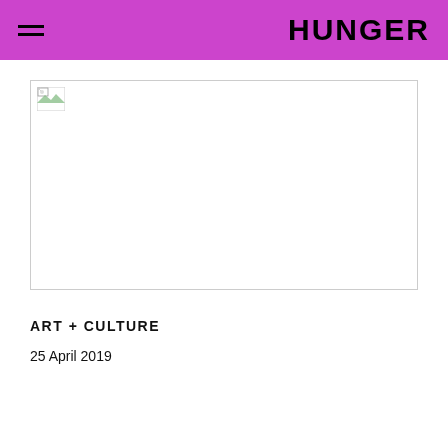HUNGER
[Figure (photo): Broken/placeholder image in a bordered rectangle]
ART + CULTURE
25 April 2019